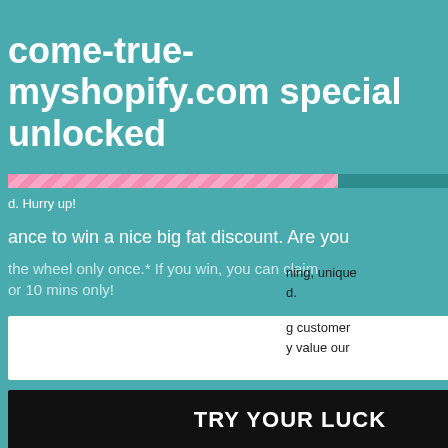come-true-myshopify.com special unlocked
d. Hurry up!
ance to win a nice big fat discount. Are you
the wheel only once.* If you win, you can claim or 10 mins only!
TRY YOUR LUCK
ning, unique d.
g customer y value our